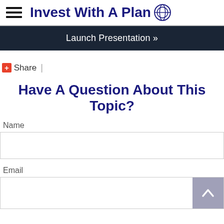Invest With A Plan
Launch Presentation »
+ Share |
Have A Question About This Topic?
Name
Email